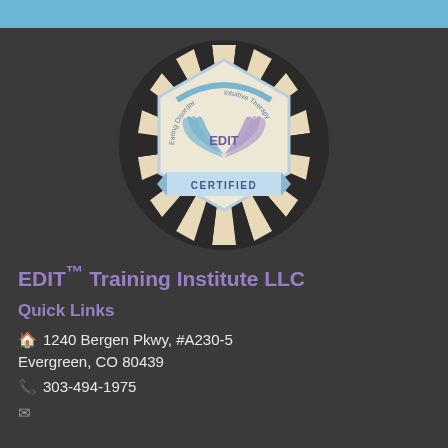[Figure (logo): EDIT Certified badge/seal — circular medallion with black and cream striped border, hexagonal inner shape with cream background, blue and purple intertwined hands forming a heart, text 'EDIT' in center, circular text 'Eating Disorder Intuitive Therapy', banner at bottom reading 'CERTIFIED']
EDIT™ Training Institute LLC
Quick Links
🏠 1240 Bergen Pkwy, #A230-5
Evergreen, CO 80439
📞 303-494-1975